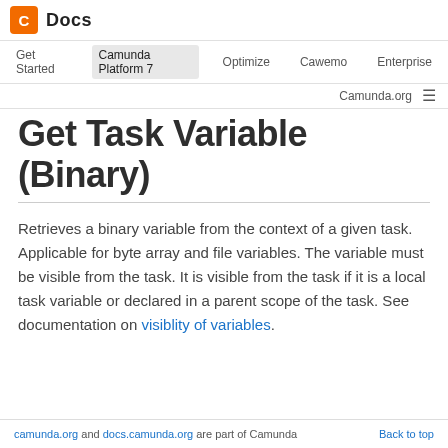Docs — Camunda Platform 7 navigation
Get Task Variable (Binary)
Retrieves a binary variable from the context of a given task. Applicable for byte array and file variables. The variable must be visible from the task. It is visible from the task if it is a local task variable or declared in a parent scope of the task. See documentation on visiblity of variables.
camunda.org and docs.camunda.org are part of Camunda — Back to top